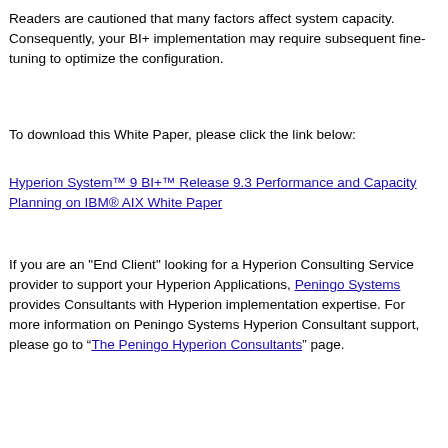Readers are cautioned that many factors affect system capacity. Consequently, your BI+ implementation may require subsequent fine-tuning to optimize the configuration.
To download this White Paper, please click the link below:
Hyperion System™ 9 BI+™ Release 9.3 Performance and Capacity Planning on IBM® AIX White Paper
If you are an "End Client" looking for a Hyperion Consulting Service provider to support your Hyperion Applications, Peningo Systems provides Consultants with Hyperion implementation expertise. For more information on Peningo Systems Hyperion Consultant support, please go to "The Peningo Hyperion Consultants" page.